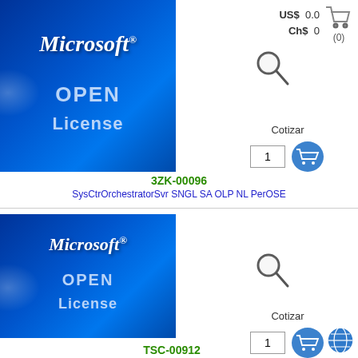US$ 0.00  Ch$ 0  (0)
[Figure (screenshot): Microsoft OPEN License product image - blue background with Microsoft logo and OPEN License text]
[Figure (screenshot): Search/magnify icon]
Cotizar
1
3ZK-00096
SysCtrOrchestratorSvr SNGL SA OLP NL PerOSE
[Figure (screenshot): Microsoft OPEN License product image - blue background with Microsoft logo and OPEN License text]
[Figure (screenshot): Search/magnify icon]
Cotizar
1
TSC-00912
SysCtrDPMCltML SNGL LicSAPk OLP NL PerUsr